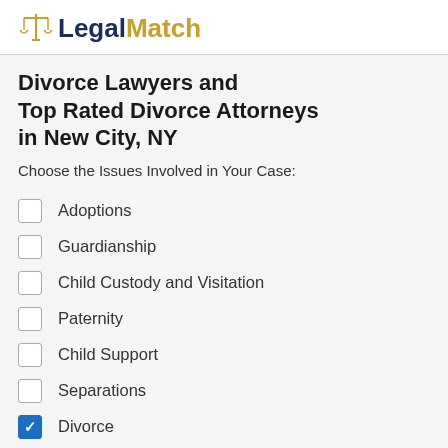LegalMatch
Divorce Lawyers and Top Rated Divorce Attorneys in New City, NY
Choose the Issues Involved in Your Case:
Adoptions
Guardianship
Child Custody and Visitation
Paternity
Child Support
Separations
Divorce (checked)
Spousal Support or Alimony